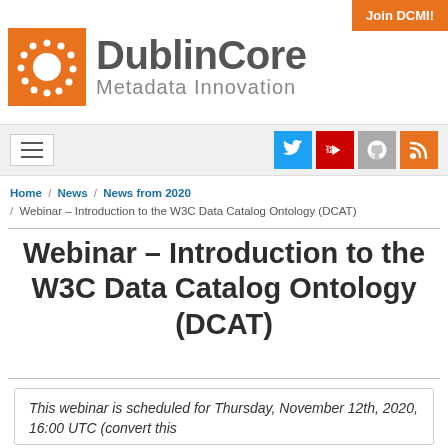[Figure (logo): Dublin Core Metadata Innovation logo with orange square icon and text]
Join DCMI!
[Figure (infographic): Navigation bar with hamburger menu and social media icons: Twitter, YouTube, GitHub, RSS]
Home / News / News from 2020 / Webinar – Introduction to the W3C Data Catalog Ontology (DCAT)
Webinar – Introduction to the W3C Data Catalog Ontology (DCAT)
This webinar is scheduled for Thursday, November 12th, 2020, 16:00 UTC (convert this